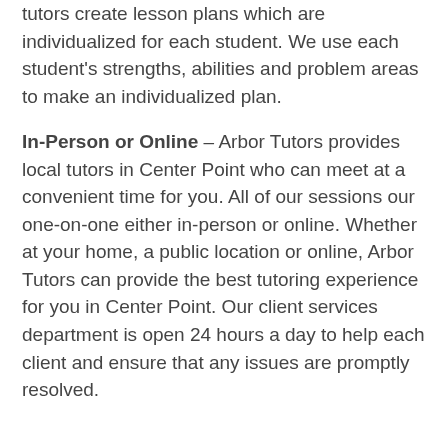tutors create lesson plans which are individualized for each student. We use each student's strengths, abilities and problem areas to make an individualized plan.
In-Person or Online – Arbor Tutors provides local tutors in Center Point who can meet at a convenient time for you. All of our sessions our one-on-one either in-person or online. Whether at your home, a public location or online, Arbor Tutors can provide the best tutoring experience for you in Center Point. Our client services department is open 24 hours a day to help each client and ensure that any issues are promptly resolved.